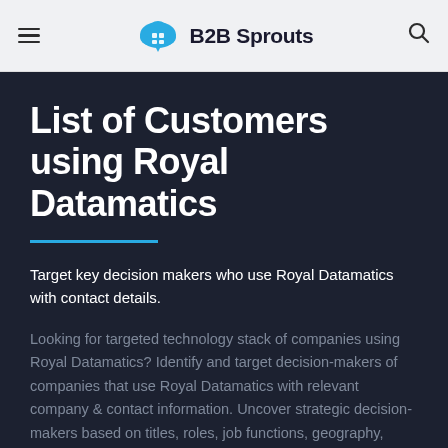≡  B2B Sprouts  🔍
List of Customers using Royal Datamatics
Target key decision makers who use Royal Datamatics with contact details.
Looking for targeted technology stack of companies using Royal Datamatics? Identify and target decision-makers of companies that use Royal Datamatics with relevant company & contact information. Uncover strategic decision-makers based on titles, roles, job functions, geography, industry, technology usage or employee & revenue ranges.